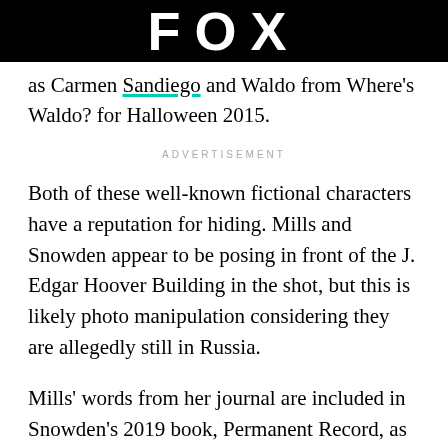FOX
as Carmen Sandiego and Waldo from Where's Waldo? for Halloween 2015.
ADVERTISEMENT
Both of these well-known fictional characters have a reputation for hiding. Mills and Snowden appear to be posing in front of the J. Edgar Hoover Building in the shot, but this is likely photo manipulation considering they are allegedly still in Russia.
Mills' words from her journal are included in Snowden's 2019 book, Permanent Record, as part of the narrative of the surveillance revelations.
Mills was pregnant in 2020, and she and Snowden